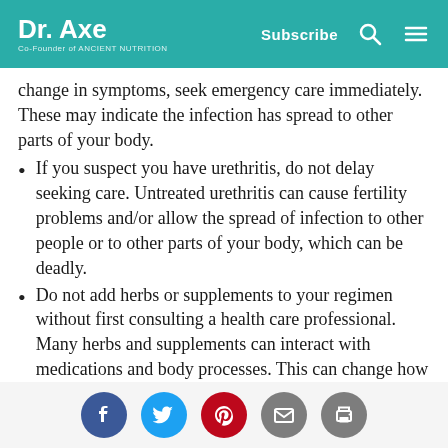Dr. Axe — Co-Founder of Ancient Nutrition | Subscribe
change in symptoms, seek emergency care immediately. These may indicate the infection has spread to other parts of your body.
If you suspect you have urethritis, do not delay seeking care. Untreated urethritis can cause fertility problems and/or allow the spread of infection to other people or to other parts of your body, which can be deadly.
Do not add herbs or supplements to your regimen without first consulting a health care professional. Many herbs and supplements can interact with medications and body processes. This can change how well your
Social share icons: Facebook, Twitter, Pinterest, Email, Print